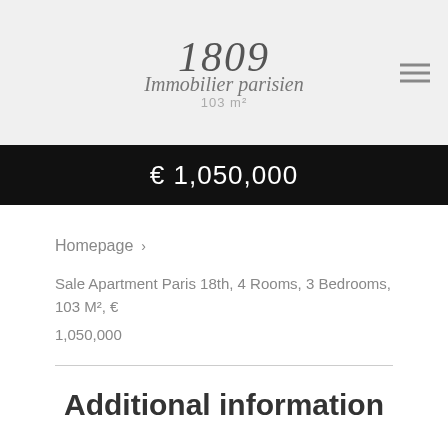1809 Immobilier parisien — 4 Rooms, 103 m²
€ 1,050,000
Homepage >
Sale Apartment Paris 18th, 4 Rooms, 3 Bedrooms, 103 M², €
1,050,000
Additional information